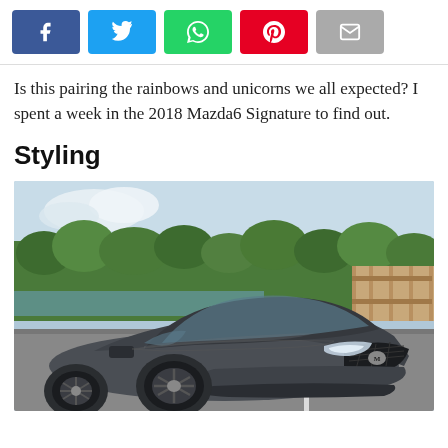[Figure (other): Social media share buttons: Facebook (blue), Twitter (light blue), WhatsApp (green), Pinterest (red), Email (gray)]
Is this pairing the rainbows and unicorns we all expected? I spent a week in the 2018 Mazda6 Signature to find out.
Styling
[Figure (photo): Front three-quarter view of a dark gray 2018 Mazda6 Signature sedan parked in a lot, with green trees and a wooden fence in the background.]